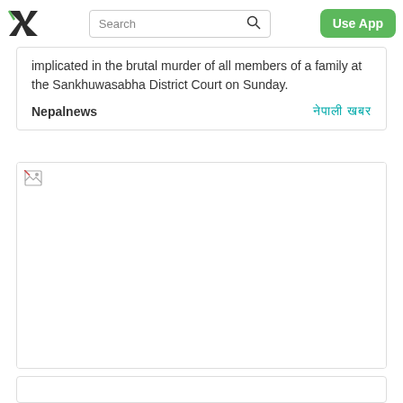be presented at court.
Search | Use App
implicated in the brutal murder of all members of a family at the Sankhuwasabha District Court on Sunday.
Nepalnews | नेपाली खबर
[Figure (photo): Image placeholder (broken image icon visible in top-left corner), large white rectangle approximately 412x230px within a bordered card]